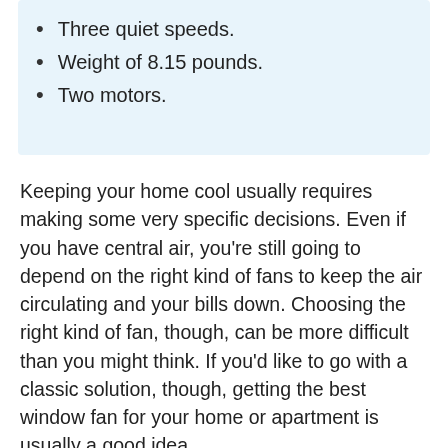Three quiet speeds.
Weight of 8.15 pounds.
Two motors.
Keeping your home cool usually requires making some very specific decisions. Even if you have central air, you're still going to depend on the right kind of fans to keep the air circulating and your bills down. Choosing the right kind of fan, though, can be more difficult than you might think. If you'd like to go with a classic solution, though, getting the best window fan for your home or apartment is usually a good idea.
Don't just buy any window fan, though. It's important that you buy the best window fan for your needs and for your